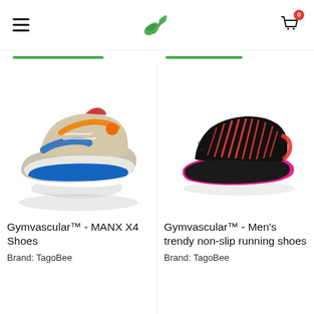Menu | Gymvascular logo | Cart (0)
[Figure (photo): Gymvascular™ MANX X4 Shoes — chunky multicolor sneaker with blue sole and orange accents, shown with reflection]
Gymvascular™ - MANX X4 Shoes
Brand: TagoBee
[Figure (photo): Gymvascular™ Men's trendy non-slip running shoes — black knit sneaker with red stripe accents and pink sole]
Gymvascular™ - Men's trendy non-slip running shoes
Brand: TagoBee